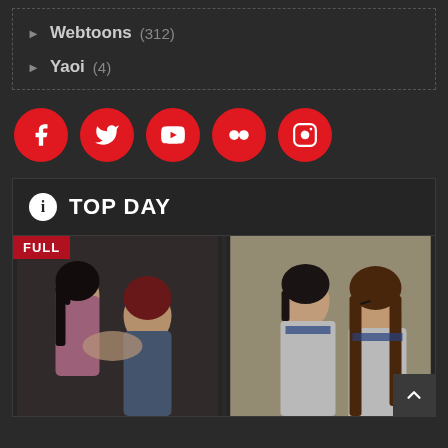Webtoons (312)
Yaoi (4)
[Figure (infographic): Row of 5 red circular social media icon buttons: Facebook, Twitter, YouTube, Flickr, Instagram]
TOP DAY
[Figure (illustration): Two anime/webtoon thumbnail images side by side. Left image shows two characters in an intimate embrace. Right image shows two female characters in school uniforms. A red 'FULL' badge is overlaid on the top-left corner.]